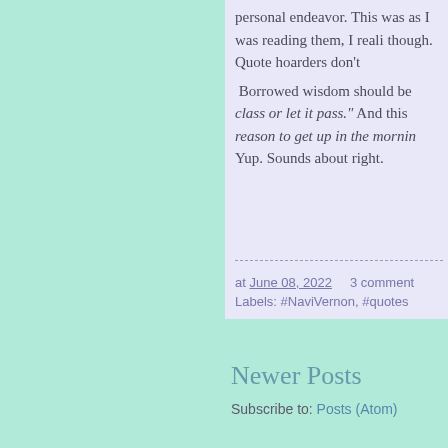personal endeavor. This was as I was reading them, I realized though. Quote hoarders don't
Borrowed wisdom should be class or let it pass." And this reason to get up in the morning. Yup. Sounds about right.
at June 08, 2022     3 comments
Labels: #NaviVernon, #quotes
Newer Posts
Subscribe to: Posts (Atom)